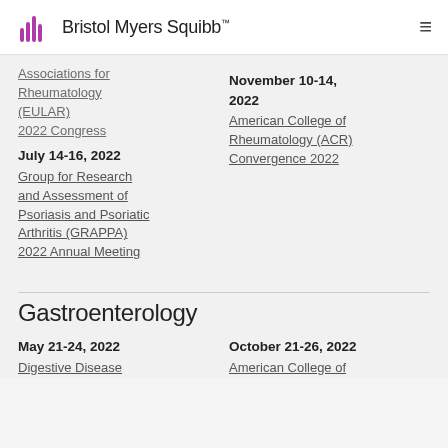Bristol Myers Squibb
Associations for Rheumatology (EULAR) 2022 Congress
November 10-14, 2022
American College of Rheumatology (ACR) Convergence 2022
July 14-16, 2022
Group for Research and Assessment of Psoriasis and Psoriatic Arthritis (GRAPPA) 2022 Annual Meeting
Gastroenterology
May 21-24, 2022
Digestive Disease
October 21-26, 2022
American College of